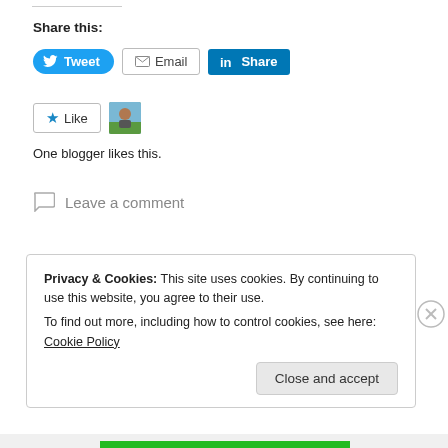Share this:
[Figure (screenshot): Social share buttons: Tweet (Twitter/blue), Email (outlined), Share (LinkedIn/teal)]
[Figure (screenshot): Like button with star icon and a blogger avatar thumbnail. Text: One blogger likes this.]
One blogger likes this.
Leave a comment
Privacy & Cookies: This site uses cookies. By continuing to use this website, you agree to their use.
To find out more, including how to control cookies, see here: Cookie Policy
Close and accept